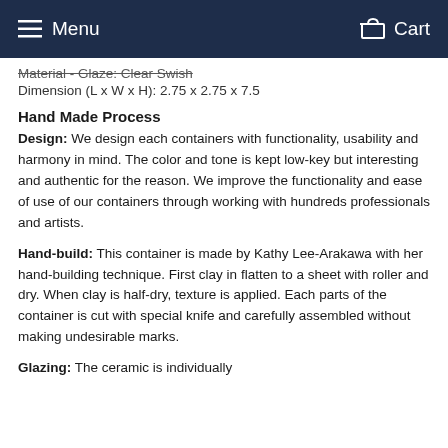Menu   Cart
Material - Glaze: Clear Swish
Dimension (L x W x H): 2.75 x 2.75 x 7.5
Hand Made Process
Design: We design each containers with functionality, usability and harmony in mind. The color and tone is kept low-key but interesting and authentic for the reason. We improve the functionality and ease of use of our containers through working with hundreds professionals and artists.
Hand-build: This container is made by Kathy Lee-Arakawa with her hand-building technique. First clay in flatten to a sheet with roller and dry. When clay is half-dry, texture is applied. Each parts of the container is cut with special knife and carefully assembled without making undesirable marks.
Glazing: The...